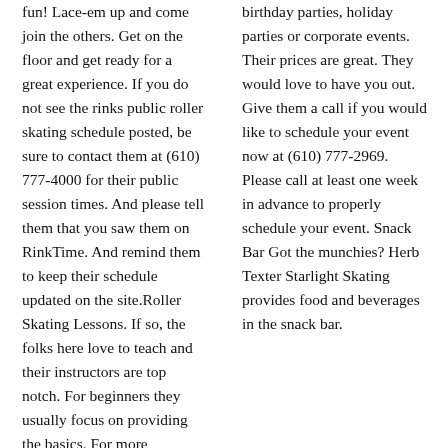fun! Lace-em up and come join the others. Get on the floor and get ready for a great experience. If you do not see the rinks public roller skating schedule posted, be sure to contact them at (610) 777-4000 for their public session times. And please tell them that you saw them on RinkTime. And remind them to keep their schedule updated on the site.Roller Skating Lessons. If so, the folks here love to teach and their instructors are top notch. For beginners they usually focus on providing the basics. For more advanced skaters they focus on proper form, technique and getting you ready to meet your goals. Call Skateaway-Shillington at (610) 777-4000 for more details. Roller
birthday parties, holiday parties or corporate events. Their prices are great. They would love to have you out. Give them a call if you would like to schedule your event now at (610) 777-2969. Please call at least one week in advance to properly schedule your event. Snack Bar Got the munchies? Herb Texter Starlight Skating provides food and beverages in the snack bar.